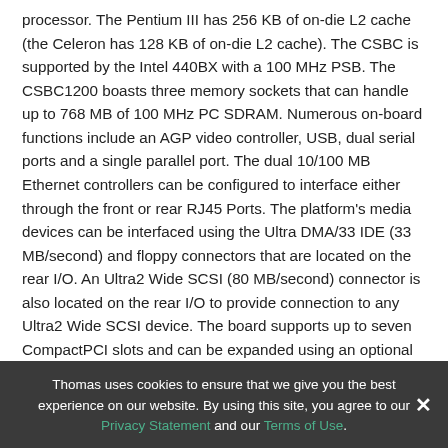processor. The Pentium III has 256 KB of on-die L2 cache (the Celeron has 128 KB of on-die L2 cache). The CSBC is supported by the Intel 440BX with a 100 MHz PSB. The CSBC1200 boasts three memory sockets that can handle up to 768 MB of 100 MHz PC SDRAM. Numerous on-board functions include an AGP video controller, USB, dual serial ports and a single parallel port. The dual 10/100 MB Ethernet controllers can be configured to interface either through the front or rear RJ45 Ports. The platform's media devices can be interfaced using the Ultra DMA/33 IDE (33 MB/second) and floppy connectors that are located on the rear I/O. An Ultra2 Wide SCSI (80 MB/second) connector is also located on the rear I/O to provide connection to any Ultra2 Wide SCSI device. The board supports up to seven CompactPCI slots and can be expanded using an optional mezzanine card that provides a second PCI bridge which enables the CSBC1200 to
Thomas uses cookies to ensure that we give you the best experience on our website. By using this site, you agree to our Privacy Statement and our Terms of Use.